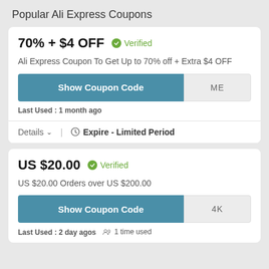Popular Ali Express Coupons
70% + $4 OFF   Verified
Ali Express Coupon To Get Up to 70% off + Extra $4 OFF
Show Coupon Code   ME
Last Used : 1 month ago
Details  ∨  |  Expire - Limited Period
US $20.00   Verified
US $20.00 Orders over US $200.00
Show Coupon Code   4K
Last Used : 2 day agos   1 time used